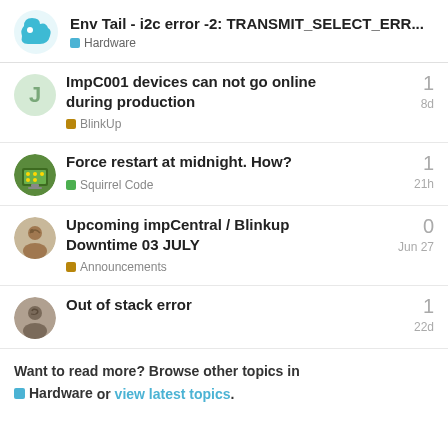Env Tail - i2c error -2: TRANSMIT_SELECT_ERR... | Hardware
ImpC001 devices can not go online during production | BlinkUp | 1 reply | 8d
Force restart at midnight. How? | Squirrel Code | 1 reply | 21h
Upcoming impCentral / Blinkup Downtime 03 JULY | Announcements | 0 replies | Jun 27
Out of stack error | 1 reply | 22d
Want to read more? Browse other topics in Hardware or view latest topics.